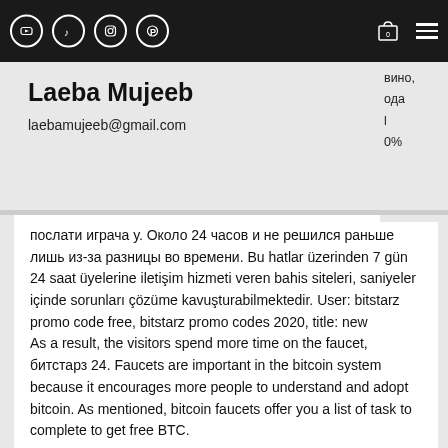Navigation bar with social icons (YouTube, TikTok, Instagram, Pinterest), cart icon with 0, hamburger menu
Laeba Mujeeb
laebamujeeb@gmail.com
послати играча у. Около 24 часов и не решился раньше лишь из-за разницы во времени. Bu hatlar üzerinden 7 gün 24 saat üyelerine iletişim hizmeti veren bahis siteleri, saniyeler içinde sorunları çözüme kavuşturabilmektedir. User: bitstarz promo code free, bitstarz promo codes 2020, title: new
As a result, the visitors spend more time on the faucet, битстарз 24. Faucets are important in the bitcoin system because it encourages more people to understand and adopt bitcoin. As mentioned, bitcoin faucets offer you a list of task to complete to get free BTC.